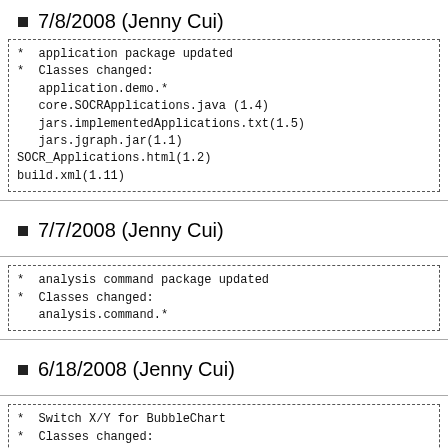7/8/2008 (Jenny Cui)
* application package updated
* Classes changed:
  application.demo.*
  core.SOCRApplications.java (1.4)
  jars.implementedApplications.txt(1.5)
  jars.jgraph.jar(1.1)
SOCR_Applications.html(1.2)
build.xml(1.11)
7/7/2008 (Jenny Cui)
* analysis command package updated
* Classes changed:
  analysis.command.*
6/18/2008 (Jenny Cui)
* Switch X/Y for BubbleChart
* Classes changed:
  chart.data.Summary(1.4-1.5)
  chart.data.DataConvertor(1.11-1.12)
  chart.SuperXYZChart(1.6-1.7)
  chart.demo.BubbleChartDemo1(1.4-1.5)